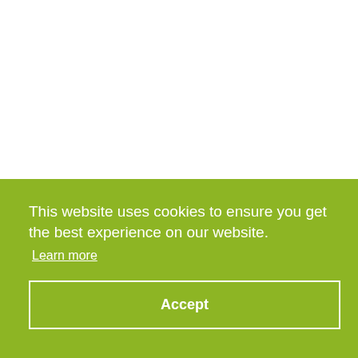This website uses cookies to ensure you get the best experience on our website. Learn more
Accept